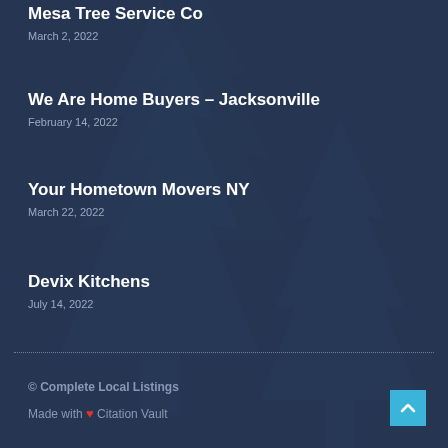Mesa Tree Service Co
March 2, 2022
We Are Home Buyers – Jacksonville
February 14, 2022
Your Hometown Movers NY
March 22, 2022
Devix Kitchens
July 14, 2022
© Complete Local Listings
Made with ❤ Citation Vault